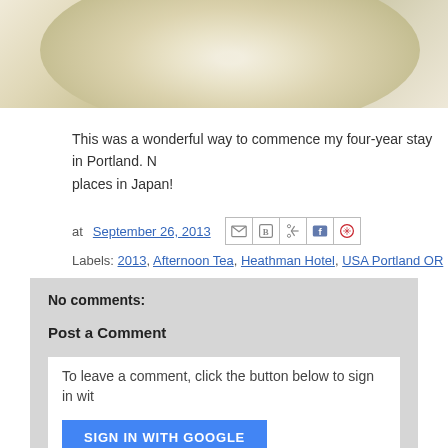[Figure (photo): Close-up photo of a pale cream/ivory colored bowl or cup, soft light, muted tones]
This was a wonderful way to commence my four-year stay in Portland. N... places in Japan!
at September 26, 2013
Labels: 2013, Afternoon Tea, Heathman Hotel, USA Portland OR
No comments:
Post a Comment
To leave a comment, click the button below to sign in wit...
SIGN IN WITH GOOGLE